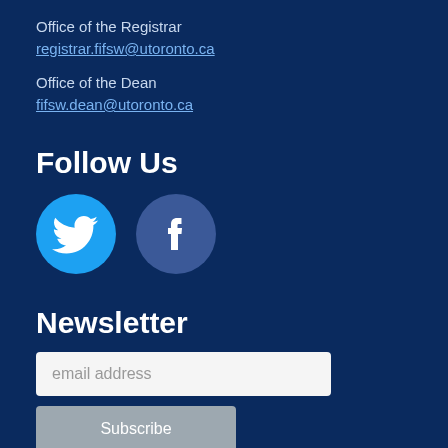Office of the Registrar
registrar.fifsw@utoronto.ca
Office of the Dean
fifsw.dean@utoronto.ca
Follow Us
[Figure (illustration): Twitter bird icon (white on blue circle) and Facebook 'f' icon (white on blue circle)]
Newsletter
email address (input field placeholder)
Subscribe (button)